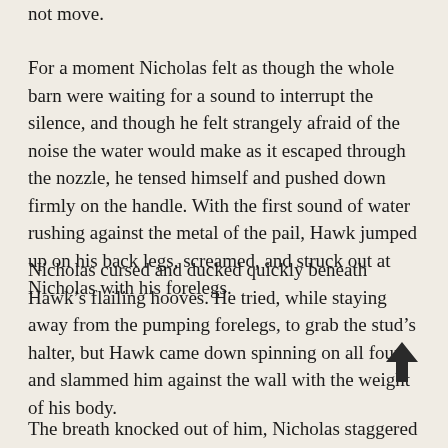not move.
For a moment Nicholas felt as though the whole barn were waiting for a sound to interrupt the silence, and though he felt strangely afraid of the noise the water would make as it escaped through the nozzle, he tensed himself and pushed down firmly on the handle. With the first sound of water rushing against the metal of the pail, Hawk jumped up on his back legs, screamed, and struck out at Nicholas with his forelegs.
Nicholas cursed and ducked quickly beneath Hawk’s flailing hooves. He tried, while staying away from the pumping forelegs, to grab the stud’s halter, but Hawk came down spinning on all fours and slammed him against the wall with the weight of his body.
The breath knocked out of him, Nicholas staggered for a